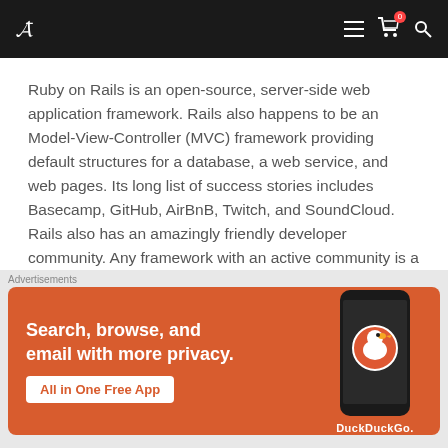Navigation bar with logo and icons
Ruby on Rails is an open-source, server-side web application framework. Rails also happens to be an Model-View-Controller (MVC) framework providing default structures for a database, a web service, and web pages. Its long list of success stories includes Basecamp, GitHub, AirBnB, Twitch, and SoundCloud. Rails also has an amazingly friendly developer community. Any framework with an active community is a godsend for upcoming developers. You'll have
[Figure (screenshot): DuckDuckGo advertisement banner with orange background showing 'Search, browse, and email with more privacy. All in One Free App' with DuckDuckGo logo on a phone mockup]